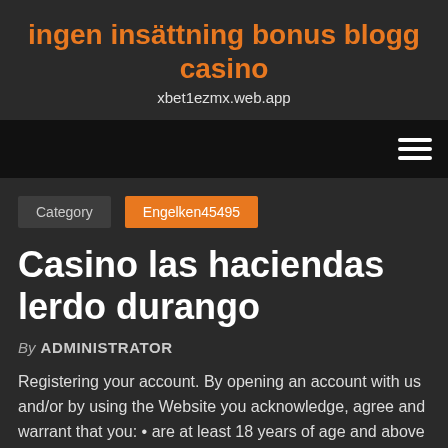ingen insättning bonus blogg casino
xbet1ezmx.web.app
[Figure (other): Navigation bar with hamburger menu icon on dark/black background]
Category   Engelken45495
Casino las haciendas lerdo durango
By ADMINISTRATOR
Registering your account. By opening an account with us and/or by using the Website you acknowledge, agree and warrant that you: • are at least 18 years of age and above